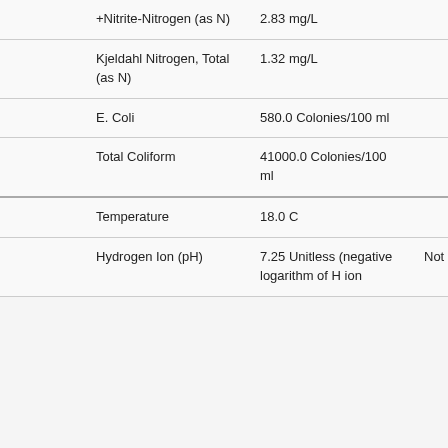|  | Parameter | Result |  |
| --- | --- | --- | --- |
|  | +Nitrite-Nitrogen (as N) | 2.83 mg/L |  |
|  | Kjeldahl Nitrogen, Total (as N) | 1.32 mg/L |  |
|  | E. Coli | 580.0 Colonies/100 ml |  |
|  | Total Coliform | 41000.0 Colonies/100 ml |  |
|  | Temperature | 18.0 C |  |
|  | Hydrogen Ion (pH) | 7.25 Unitless (negative logarithm of H ion | Not Certifiable |